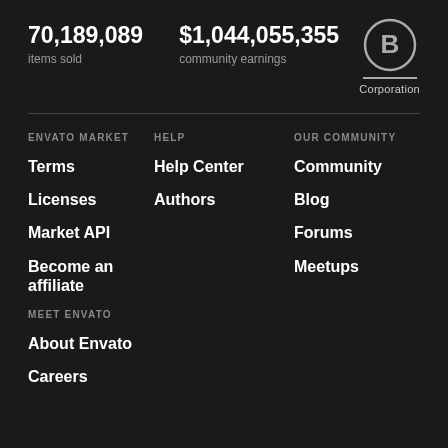70,189,089
items sold
$1,044,055,355
community earnings
[Figure (logo): B Corporation logo — circle with letter B, horizontal line, text 'Corporation']
ENVATO MARKET
Terms
Licenses
Market API
Become an affiliate
HELP
Help Center
Authors
OUR COMMUNITY
Community
Blog
Forums
Meetups
MEET ENVATO
About Envato
Careers